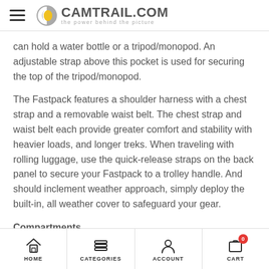CAMTRAIL.COM the power behind the picture
can hold a water bottle or a tripod/monopod. An adjustable strap above this pocket is used for securing the top of the tripod/monopod.
The Fastpack features a shoulder harness with a chest strap and a removable waist belt. The chest strap and waist belt each provide greater comfort and stability with heavier loads, and longer treks. When traveling with rolling luggage, use the quick-release straps on the back panel to secure your Fastpack to a trolley handle. And should inclement weather approach, simply deploy the built-in, all weather cover to safeguard your gear.
Compartments
HOME    CATEGORIES    ACCOUNT    CART